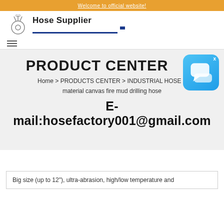Welcome to official website!
[Figure (logo): Hose Supplier logo with hose reel icon and blue underline]
PRODUCT CENTER
Home > PRODUCTS CENTER > INDUSTRIAL HOSE > material canvas fire mud drilling hose
E-mail:hosefactory001@gmail.com
Big size (up to 12"), ultra-abrasion, high/low temperature and